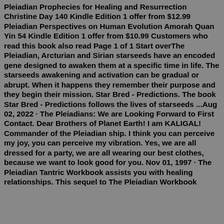Pleiadian Prophecies for Healing and Resurrection Christine Day 140 Kindle Edition 1 offer from $12.99 Pleiadian Perspectives on Human Evolution Amorah Quan Yin 54 Kindle Edition 1 offer from $10.99 Customers who read this book also read Page 1 of 1 Start overThe Pleiadian, Arcturian and Sirian starseeds have an encoded gene designed to awaken them at a specific time in life. The starseeds awakening and activation can be gradual or abrupt. When it happens they remember their purpose and they begin their mission. Star Bred - Predictions. The book Star Bred - Predictions follows the lives of starseeds ...Aug 02, 2022 · The Pleiadians: We are Looking Forward to First Contact. Dear Brothers of Planet Earth! I am KALIGAL! Commander of the Pleiadian ship. I think you can perceive my joy, you can perceive my vibration. Yes, we are all dressed for a party, we are all wearing our best clothes, because we want to look good for you. Nov 01, 1997 · The Pleiadian Tantric Workbook assists you with healing relationships. This sequel to The Pleiadian Workbook